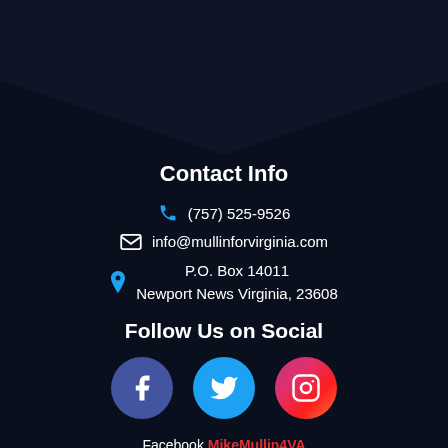[Figure (illustration): Dark navy chevron/pentagon shape at the top of the page as decorative background]
Contact Info
(757) 525-9526
info@mullinforvirginia.com
P.O. Box 14011
Newport News Virginia, 23608
Follow Us on Social
[Figure (illustration): Three social media icons in circles: Facebook (dark blue), Twitter (light blue), Instagram (pink/magenta gradient)]
Facebook MikeMullin4VA
Twitter @MikeMullin4VA
Instagram MikeMullin4VA